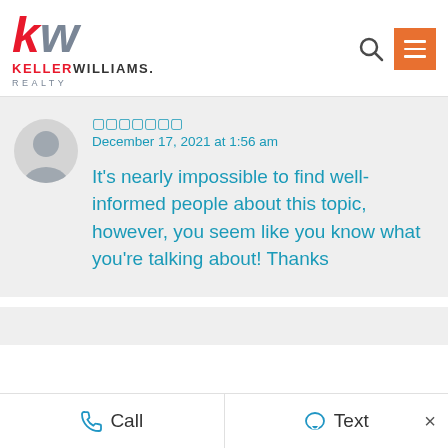[Figure (logo): Keller Williams Realty logo with red K, gray W, brand name and REALTY text]
December 17, 2021 at 1:56 am
It's nearly impossible to find well-informed people about this topic, however, you seem like you know what you're talking about! Thanks
Call   Text   ×